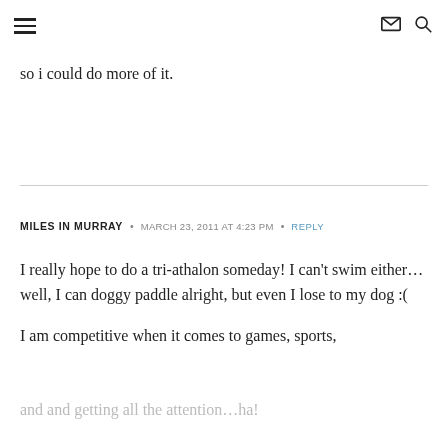[hamburger menu icon] [envelope icon] [search icon]
so i could do more of it.
MILES IN MURRAY · MARCH 23, 2011 AT 4:23 PM · REPLY
I really hope to do a tri-athalon someday! I can't swim either…well, I can doggy paddle alright, but even I lose to my dog :(

I am competitive when it comes to games, sports,
and and getting all the attention…ha!